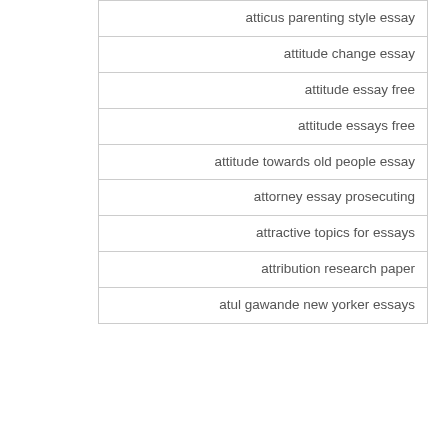| atticus parenting style essay |
| attitude change essay |
| attitude essay free |
| attitude essays free |
| attitude towards old people essay |
| attorney essay prosecuting |
| attractive topics for essays |
| attribution research paper |
| atul gawande new yorker essays |